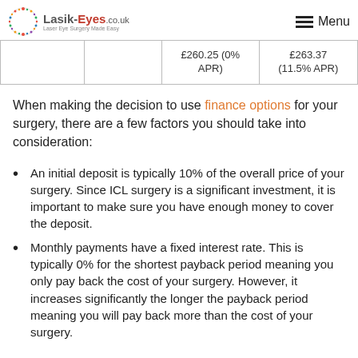Lasik-Eyes.co.uk — Menu
|  |  | £260.25 (0% APR) | £263.37 (11.5% APR) |
When making the decision to use finance options for your surgery, there are a few factors you should take into consideration:
An initial deposit is typically 10% of the overall price of your surgery. Since ICL surgery is a significant investment, it is important to make sure you have enough money to cover the deposit.
Monthly payments have a fixed interest rate. This is typically 0% for the shortest payback period meaning you only pay back the cost of your surgery. However, it increases significantly the longer the payback period meaning you will pay back more than the cost of your surgery.